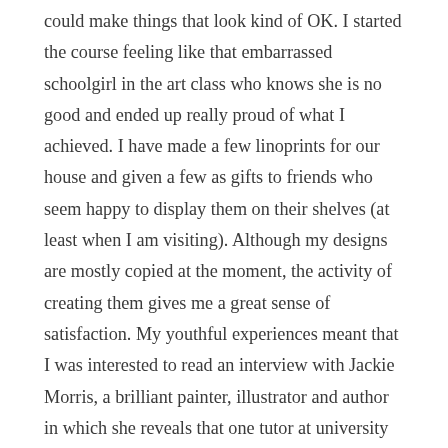could make things that look kind of OK. I started the course feeling like that embarrassed schoolgirl in the art class who knows she is no good and ended up really proud of what I achieved. I have made a few linoprints for our house and given a few as gifts to friends who seem happy to display them on their shelves (at least when I am visiting). Although my designs are mostly copied at the moment, the activity of creating them gives me a great sense of satisfaction. My youthful experiences meant that I was interested to read an interview with Jackie Morris, a brilliant painter, illustrator and author in which she reveals that one tutor at university said 'your attitude is as substandard as your work' while another noted that it was good that she wanted to learn, as she 'didn't have much talent'. This struck a chord with me – although I am not sure anyone actually said I was talentless, that was certainly how they made me feel. And Jackie was determined enough to prove those tutors wrong and make a